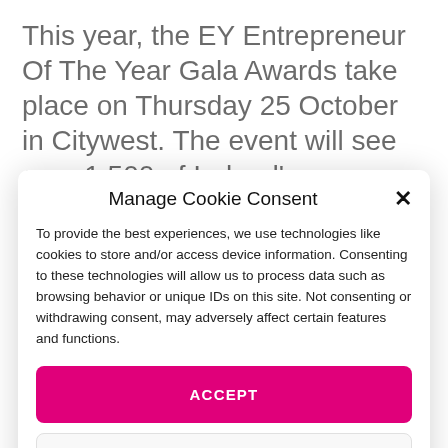This year, the EY Entrepreneur Of The Year Gala Awards take place on Thursday 25 October in Citywest. The event will see over 1,500 of Ireland's
Manage Cookie Consent
To provide the best experiences, we use technologies like cookies to store and/or access device information. Consenting to these technologies will allow us to process data such as browsing behavior or unique IDs on this site. Not consenting or withdrawing consent, may adversely affect certain features and functions.
ACCEPT
DENY
VIEW PREFERENCES
Terms & Conditions